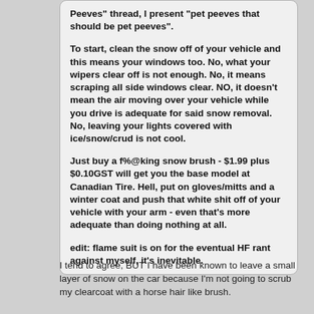Peeves" thread, I present "pet peeves that should be pet peeves".

To start, clean the snow off of your vehicle and this means your windows too. No, what your wipers clear off is not enough. No, it means scraping all side windows clear. NO, it doesn't mean the air moving over your vehicle while you drive is adequate for said snow removal. No, leaving your lights covered with ice/snow/crud is not cool.

Just buy a f%@king snow brush - $1.99 plus $0.10GST will get you the base model at Canadian Tire. Hell, put on gloves/mitts and a winter coat and push that white shit off of your vehicle with your arm - even that's more adequate than doing nothing at all.

edit: flame suit is on for the eventual HF rant against myself, it's inevitable.
I tend to agree, BUT I have been known to leave a small layer of snow on the car because I'm not going to scrub my clearcoat with a horse hair like brush.